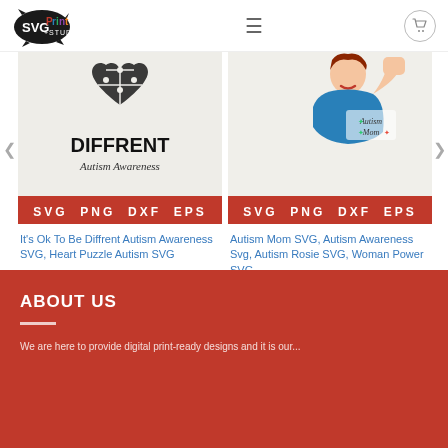SVG Print Studio — navigation header with logo, hamburger menu, and cart icon
[Figure (screenshot): Product image: 'It's Ok To Be Diffrent' Autism Awareness SVG with heart puzzle design and red SVG PNG DXF EPS banner]
It's Ok To Be Diffrent Autism Awareness SVG, Heart Puzzle Autism SVG
$4.00 $1.99
[Figure (screenshot): Product image: Autism Mom SVG, strong woman Rosie the Riveter style with Autism Mom text and red SVG PNG DXF EPS banner]
Autism Mom SVG, Autism Awareness Svg, Autism Rosie SVG, Woman Power SVG
$4.00 $2.75
ABOUT US
We are here...